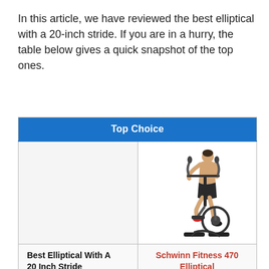In this article, we have reviewed the best elliptical with a 20-inch stride. If you are in a hurry, the table below gives a quick snapshot of the top ones.
| Top Choice | Top Choice |
| --- | --- |
| [image] | [elliptical machine image] |
| Best Elliptical With A 20 Inch Stride | Schwinn Fitness 470 Elliptical |
|  |  |